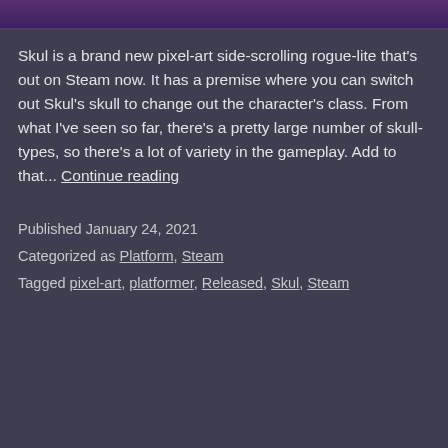[Figure (photo): Purple-toned image strip at the top of the page, partially visible game artwork]
Skul is a brand new pixel-art side-scrolling rogue-lite that's out on Steam now. It has a premise where you can switch out Skul's skull to change out the character's class. From what I've seen so far, there's a pretty large number of skull-types, so there's a lot of variety in the gameplay. Add to that... Continue reading
Published January 24, 2021
Categorized as Platform, Steam
Tagged pixel-art, platformer, Released, Skul, Steam